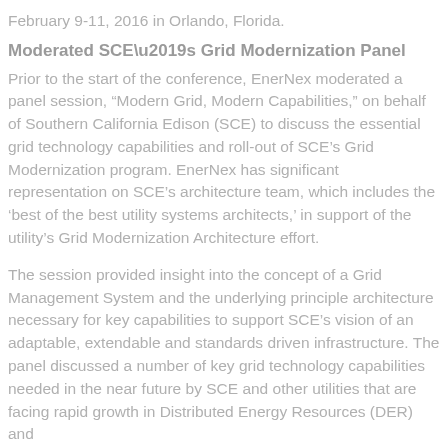February 9-11, 2016 in Orlando, Florida.
Moderated SCE’s Grid Modernization Panel
Prior to the start of the conference, EnerNex moderated a panel session, “Modern Grid, Modern Capabilities,” on behalf of Southern California Edison (SCE) to discuss the essential grid technology capabilities and roll-out of SCE’s Grid Modernization program. EnerNex has significant representation on SCE’s architecture team, which includes the ‘best of the best utility systems architects,’ in support of the utility’s Grid Modernization Architecture effort.
The session provided insight into the concept of a Grid Management System and the underlying principle architecture necessary for key capabilities to support SCE’s vision of an adaptable, extendable and standards driven infrastructure. The panel discussed a number of key grid technology capabilities needed in the near future by SCE and other utilities that are facing rapid growth in Distributed Energy Resources (DER) and